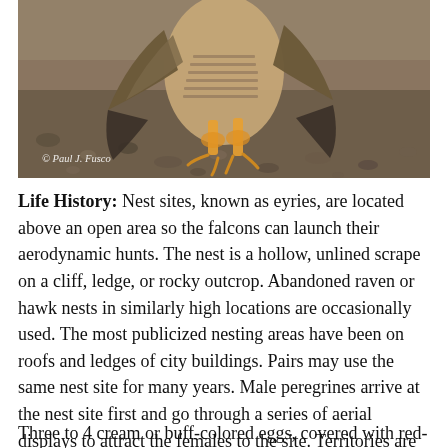[Figure (photo): Close-up photograph of a peregrine falcon standing on rocky ground, showing its taloned feet and barred chest feathers, with a watermark reading '© Paul J. Fusco' in the lower left corner.]
Life History: Nest sites, known as eyries, are located above an open area so the falcons can launch their aerodynamic hunts. The nest is a hollow, unlined scrape on a cliff, ledge, or rocky outcrop. Abandoned raven or hawk nests in similarly high locations are occasionally used. The most publicized nesting areas have been on roofs and ledges of city buildings. Pairs may use the same nest site for many years. Male peregrines arrive at the nest site first and go through a series of aerial displays to attract the females to the site. Territories are usually reestablished by late March.
Three to 4 cream or buff-colored eggs, covered with red-